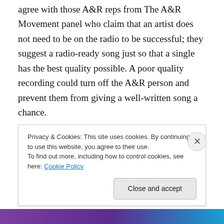agree with those A&R reps from The A&R Movement panel who claim that an artist does not need to be on the radio to be successful; they suggest a radio-ready song just so that a single has the best quality possible. A poor quality recording could turn off the A&R person and prevent them from giving a well-written song a chance.
So far, I have talked about the types of criticisms new artists on the independent music scene will likely receive from industry players. Now, I want to take you to the last segment of this review – advice for publicists working with
Privacy & Cookies: This site uses cookies. By continuing to use this website, you agree to their use.
To find out more, including how to control cookies, see here: Cookie Policy